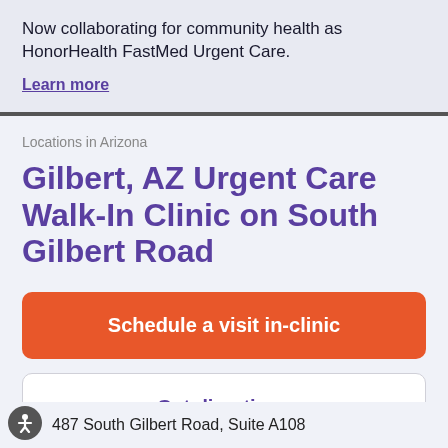Now collaborating for community health as HonorHealth FastMed Urgent Care.
Learn more
Locations in Arizona
Gilbert, AZ Urgent Care Walk-In Clinic on South Gilbert Road
Schedule a visit in-clinic
Get directions
487 South Gilbert Road, Suite A108